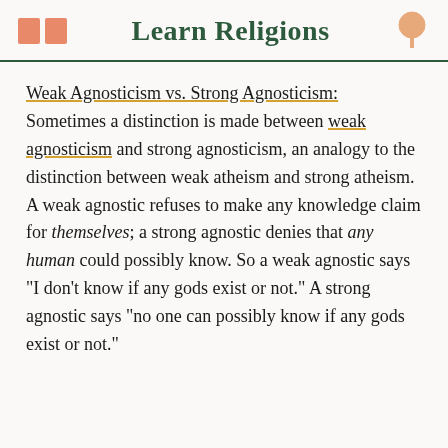Learn Religions
Weak Agnosticism vs. Strong Agnosticism: Sometimes a distinction is made between weak agnosticism and strong agnosticism, an analogy to the distinction between weak atheism and strong atheism. A weak agnostic refuses to make any knowledge claim for themselves; a strong agnostic denies that any human could possibly know. So a weak agnostic says "I don't know if any gods exist or not." A strong agnostic says "no one can possibly know if any gods exist or not."